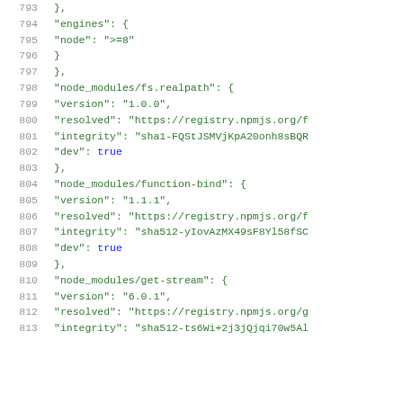Code listing lines 793-813 showing JSON package-lock.json content with node_modules entries for fs.realpath, function-bind, and get-stream